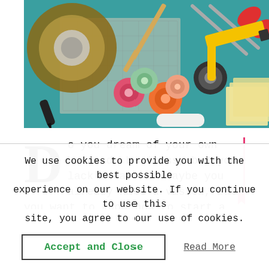[Figure (photo): Photo of craft/stationery supplies on a teal surface: tape roll, cutting mat, colorful washi tapes, scissors, rotary cutter, yellow utility knife, sticky notes, pencils, and a white eraser.]
Do you dream of your own handmade business, but you lack ideas? Or maybe you already have a vision, but you want to know how to start a
We use cookies to provide you with the best possible experience on our website. If you continue to use this site, you agree to our use of cookies.
Accept and Close
Read More